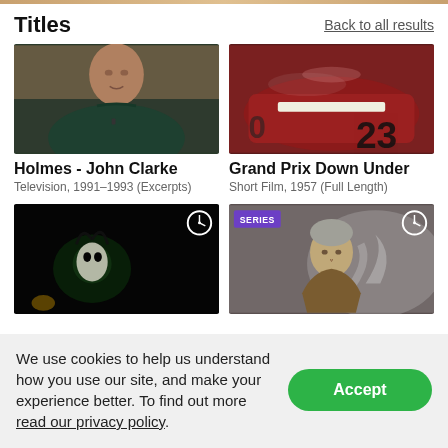Titles
Back to all results
[Figure (photo): Man in dark green shirt speaking, screenshot from TV show Holmes - John Clarke]
Holmes - John Clarke
Television, 1991–1993 (Excerpts)
[Figure (photo): Close-up of a red racing car with number 23, from Grand Prix Down Under]
Grand Prix Down Under
Short Film, 1957 (Full Length)
[Figure (photo): Dark horror scene with a person's pale face, clock icon overlay]
[Figure (photo): Elderly man in brown jacket, SERIES badge and clock icon overlay]
We use cookies to help us understand how you use our site, and make your experience better. To find out more read our privacy policy.